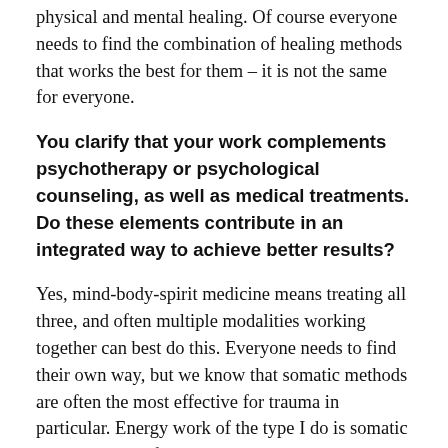physical and mental healing. Of course everyone needs to find the combination of healing methods that works the best for them – it is not the same for everyone.
You clarify that your work complements psychotherapy or psychological counseling, as well as medical treatments. Do these elements contribute in an integrated way to achieve better results?
Yes, mind-body-spirit medicine means treating all three, and often multiple modalities working together can best do this. Everyone needs to find their own way, but we know that somatic methods are often the most effective for trauma in particular. Energy work of the type I do is somatic because we are feeling into energies as they express in the physical body too. This can be very helpful for addressing longstanding emotional patterns and